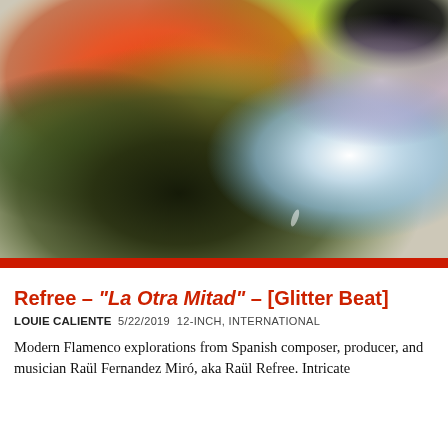[Figure (photo): Abstract close-up photograph of colorful blurred paint or liquid blobs — featuring vivid red-orange, yellow-green, dark olive-black, and light blue-white swirling gradients on a white background, with a thin red border at the bottom.]
Refree – “La Otra Mitad” – [Glitter Beat]
LOUIE CALIENTE  5/22/2019  12-INCH, INTERNATIONAL
Modern Flamenco explorations from Spanish composer, producer, and musician Raül Fernandez Miró, aka Raül Refree. Intricate